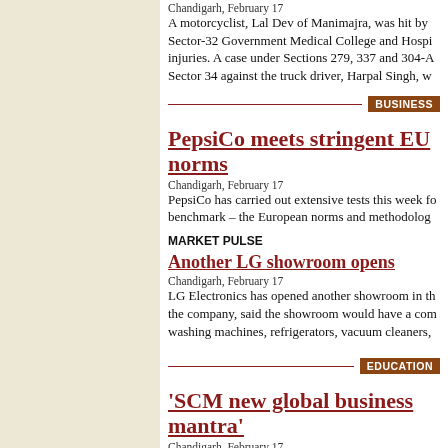Chandigarh, February 17
A motorcyclist, Lal Dev of Manimajra, was hit by Sector-32 Government Medical College and Hospi injuries. A case under Sections 279, 337 and 304-A Sector 34 against the truck driver, Harpal Singh, w
BUSINESS
PepsiCo meets stringent EU norms
Chandigarh, February 17
PepsiCo has carried out extensive tests this week fo benchmark – the European norms and methodolog
MARKET PULSE
Another LG showroom opens
Chandigarh, February 17
LG Electronics has opened another showroom in th the company, said the showroom would have a com washing machines, refrigerators, vacuum cleaners,
EDUCATION
'SCM new global business mantra'
Chandigarh, February 17
The need for having a more efficient supply-chain here today that, in the present business environmer chains.